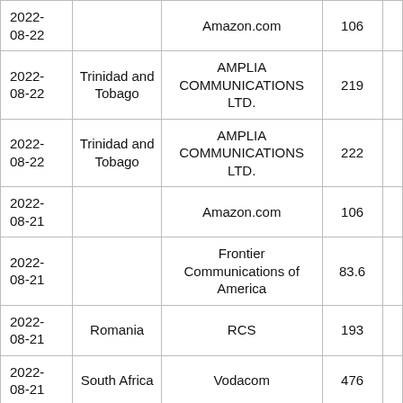| 2022-08-22 |  | Amazon.com | 106 |  |
| 2022-08-22 | Trinidad and Tobago | AMPLIA COMMUNICATIONS LTD. | 219 |  |
| 2022-08-22 | Trinidad and Tobago | AMPLIA COMMUNICATIONS LTD. | 222 |  |
| 2022-08-21 |  | Amazon.com | 106 |  |
| 2022-08-21 |  | Frontier Communications of America | 83.6 |  |
| 2022-08-21 | Romania | RCS | 193 |  |
| 2022-08-21 | South Africa | Vodacom | 476 |  |